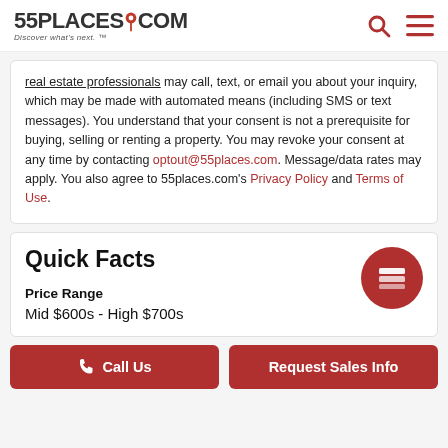55PLACES.COM — Discover what's next.
real estate professionals may call, text, or email you about your inquiry, which may be made with automated means (including SMS or text messages). You understand that your consent is not a prerequisite for buying, selling or renting a property. You may revoke your consent at any time by contacting optout@55places.com. Message/data rates may apply. You also agree to 55places.com's Privacy Policy and Terms of Use.
Quick Facts
Price Range
Mid $600s - High $700s